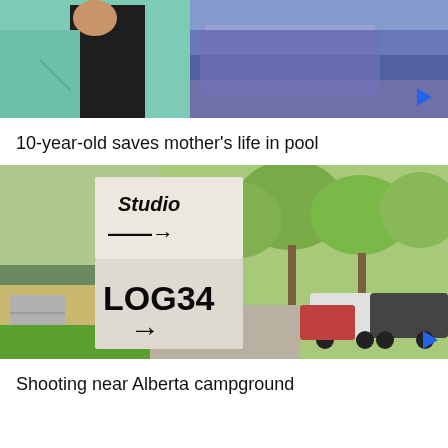[Figure (photo): Two-panel image: left shows a person in a teal/green shirt with a dark overlay element; right shows a blurry purple/blue image, possibly a vehicle or container, with a blue play button in bottom-right corner.]
10-year-old saves mother's life in pool
[Figure (photo): Photo of a weathered white wooden sign post reading 'Studio' with arrow pointing right on top, and 'LOG34' with arrow pointing right on bottom. Background shows green trees on right and a house/building on left with cars parked along a gravel path. Blue play button in bottom-right corner.]
Shooting near Alberta campground